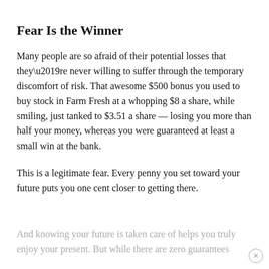Fear Is the Winner
Many people are so afraid of their potential losses that they’re never willing to suffer through the temporary discomfort of risk. That awesome $500 bonus you used to buy stock in Farm Fresh at a whopping $8 a share, while smiling, just tanked to $3.51 a share — losing you more than half your money, whereas you were guaranteed at least a small win at the bank.
This is a legitimate fear. Every penny you set toward your future puts you one cent closer to getting there.
And knowing your future is taken care of helps you truly enjoy your present. But while there are zero guarantees